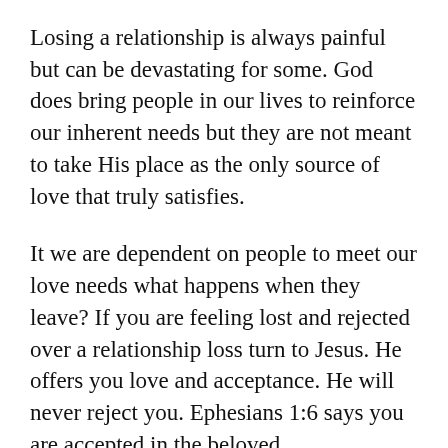Losing a relationship is always painful but can be devastating for some. God does bring people in our lives to reinforce our inherent needs but they are not meant to take His place as the only source of love that truly satisfies.
It we are dependent on people to meet our love needs what happens when they leave? If you are feeling lost and rejected over a relationship loss turn to Jesus. He offers you love and acceptance. He will never reject you. Ephesians 1:6 says you are accepted in the beloved.
If you are feeling lost and rejected over a relationship loss turn to Jesus. He offers you love and acceptance. He will never reject you.